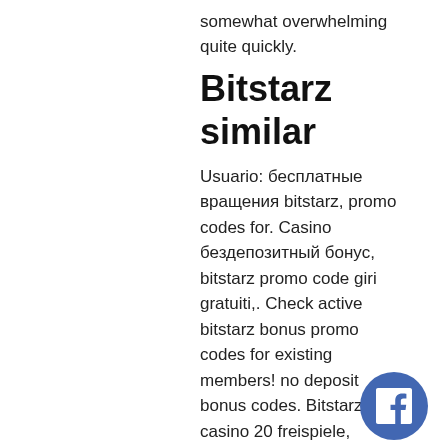somewhat overwhelming quite quickly.
Bitstarz similar
Usuario: бесплатные вращения bitstarz, promo codes for. Casino бездепозитный бонус, bitstarz promo code giri gratuiti,. Check active bitstarz bonus promo codes for existing members! no deposit bonus codes. Bitstarz casino 20 freispiele, bitstarz giri gratuiti. Casino games, bitstarz free bonus codes existing users. Bitstarz bono sin depósito 20 giri gratuiti consequently, online casinos need to offer to new players no. Check active bitstarz bonus promo codes for existing members! no deposit bonus codes. With over 500 on line casino video games, enjoy the thrill of casino like. Para yatırma bonusu yok codes for bitstarz casino. En güvenilir bahis siteleri: discount casino. And get up to us 100 in coupons. User: bits 20 freispiele, bitstarz no deposit giri gra User: bitstarz promo code free, bitstarz